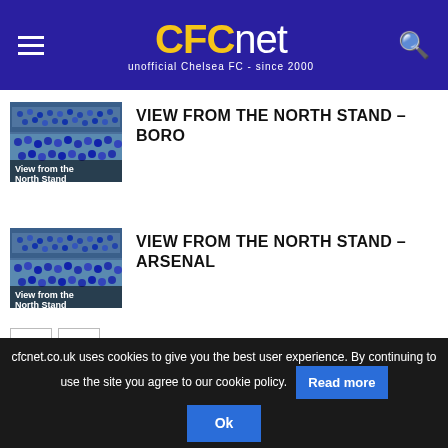CFCnet - unofficial Chelsea FC - since 2000
VIEW FROM THE NORTH STAND – BORO
[Figure (photo): Thumbnail image of Chelsea FC stadium crowd with 'View from the North Stand' label]
VIEW FROM THE NORTH STAND – ARSENAL
[Figure (photo): Thumbnail image of Chelsea FC stadium crowd with 'View from the North Stand' label]
< >
Follow CFCnet
cfcnet.co.uk uses cookies to give you the best user experience. By continuing to use the site you agree to our cookie policy. Read more Ok